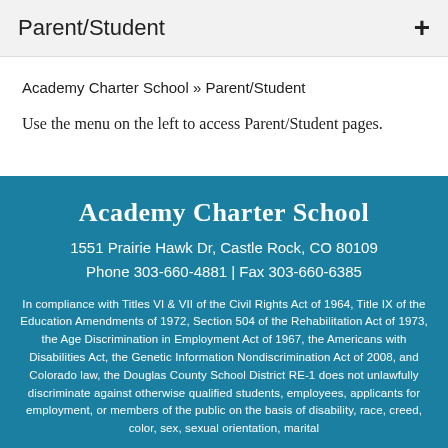Parent/Student
Academy Charter School » Parent/Student
Use the menu on the left to access Parent/Student pages.
Academy Charter School
1551 Prairie Hawk Dr, Castle Rock, CO 80109
Phone 303-660-4881 | Fax 303-660-6385
In compliance with Titles VI & VII of the Civil Rights Act of 1964, Title IX of the Education Amendments of 1972, Section 504 of the Rehabilitation Act of 1973, the Age Discrimination in Employment Act of 1967, the Americans with Disabilities Act, the Genetic Information Nondiscrimination Act of 2008, and Colorado law, the Douglas County School District RE-1 does not unlawfully discriminate against otherwise qualified students, employees, applicants for employment, or members of the public on the basis of disability, race, creed, color, sex, sexual orientation, marital